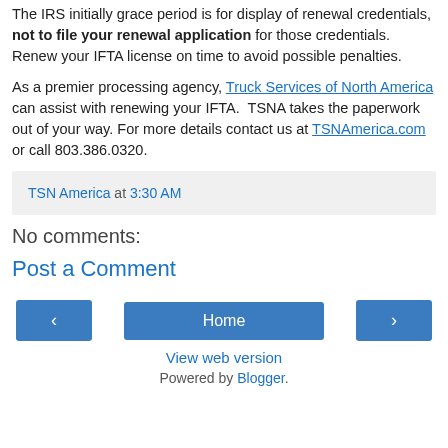The IRS initially grace period is for display of renewal credentials, not to file your renewal application for those credentials. Renew your IFTA license on time to avoid possible penalties.
As a premier processing agency, Truck Services of North America can assist with renewing your IFTA. TSNA takes the paperwork out of your way. For more details contact us at TSNAmerica.com or call 803.386.0320.
TSN America at 3:30 AM
No comments:
Post a Comment
‹ Home › View web version Powered by Blogger.